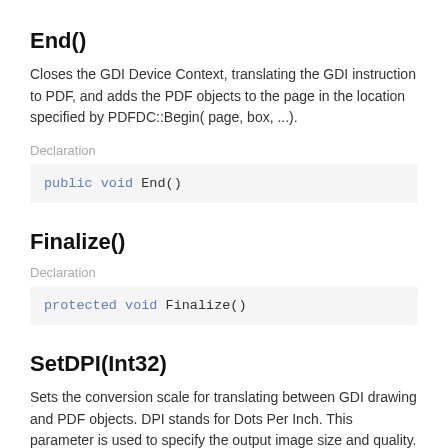End()
Closes the GDI Device Context, translating the GDI instruction to PDF, and adds the PDF objects to the page in the location specified by PDFDC::Begin( page, box, ...).
Declaration
public void End()
Finalize()
Declaration
protected void Finalize()
SetDPI(Int32)
Sets the conversion scale for translating between GDI drawing and PDF objects. DPI stands for Dots Per Inch. This parameter is used to specify the output image size and quality. A typical screen resolution for monitors these days is 92 DPI, but printers